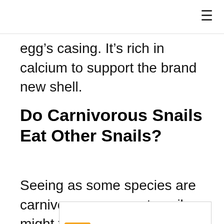egg’s casing. It’s rich in calcium to support the brand new shell.
Do Carnivorous Snails Eat Other Snails?
Seeing as some species are carnivorous, your pet snail might try eating its tank mates. This shouldn’t happen as long as
[Figure (other): Advertisement banner with orange logo, checkmarks for Dine-in and Curbside pickup, and a blue navigation arrow icon]